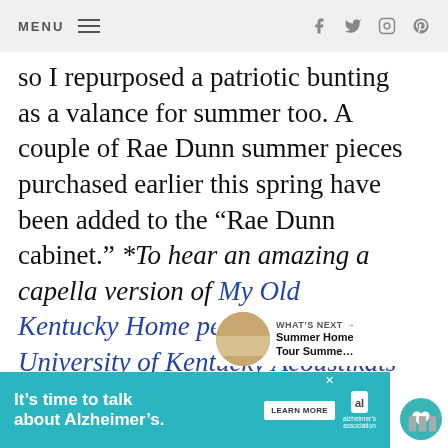MENU | social icons: facebook, twitter, instagram, pinterest
so I repurposed a patriotic bunting as a valance for summer too. A couple of Rae Dunn summer pieces purchased earlier this spring have been added to the “Rae Dunn cabinet.” *To hear an amazing a capella version of My Old Kentucky Home performed by The University of Kentucky Acoustikats Men’s Chorus, click here.
WHAT’S NEXT → Summer Home Tour Summe...
[Figure (other): Advertisement banner: It’s time to talk about Alzheimer’s. LEARN MORE. Alzheimer’s Association logo.]